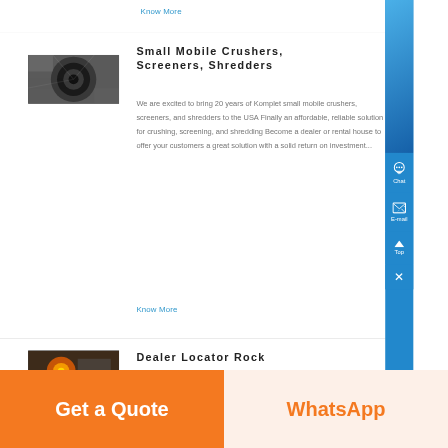Know More
Small Mobile Crushers, Screeners, Shredders
[Figure (photo): Industrial crusher machine photo]
We are excited to bring 20 years of Komplet small mobile crushers, screeners, and shredders to the USA Finally an affordable, reliable solution for crushing, screening, and shredding Become a dealer or rental house to offer your customers a great solution with a solid return on investment...
Know More
Dealer Locator Rock
[Figure (photo): Rock crushing equipment photo]
Get a Quote
WhatsApp